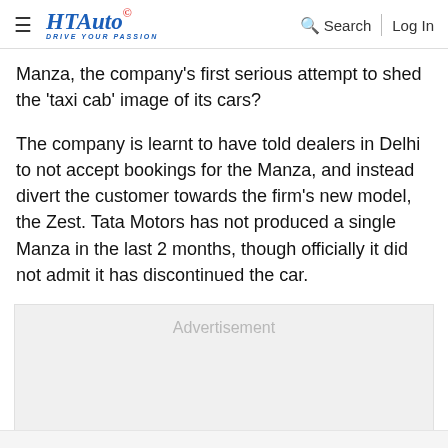HT Auto - Drive Your Passion | Search | Log In
Manza, the company’s first serious attempt to shed the ‘taxi cab’ image of its cars?
The company is learnt to have told dealers in Delhi to not accept bookings for the Manza, and instead divert the customer towards the firm's new model, the Zest. Tata Motors has not produced a single Manza in the last 2 months, though officially it did not admit it has discontinued the car.
[Figure (other): Advertisement placeholder box with grey background]